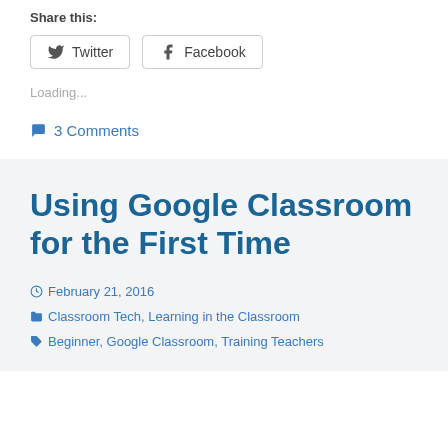Share this:
Twitter  Facebook
Loading...
3 Comments
Using Google Classroom for the First Time
February 21, 2016  Classroom Tech, Learning in the Classroom  Beginner, Google Classroom, Training Teachers